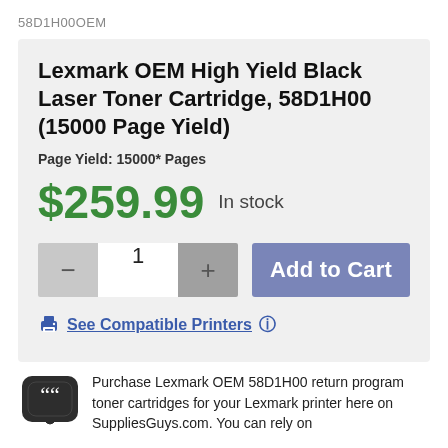58D1H00OEM
Lexmark OEM High Yield Black Laser Toner Cartridge, 58D1H00 (15000 Page Yield)
Page Yield: 15000* Pages
$259.99  In stock
[Figure (other): Quantity selector with minus, 1, plus buttons and Add to Cart button]
See Compatible Printers ⊕
Purchase Lexmark OEM 58D1H00 return program toner cartridges for your Lexmark printer here on SuppliesGuys.com. You can rely on